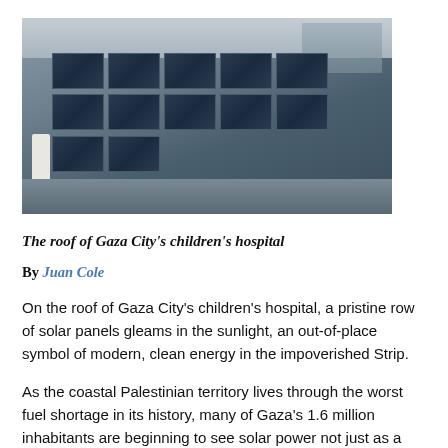[Figure (photo): A person in white coat standing on the roof of Gaza City's children's hospital, surrounded by rows of solar panels, with buildings visible in the background under an overcast sky.]
The roof of Gaza City's children's hospital
By Juan Cole
On the roof of Gaza City's children's hospital, a pristine row of solar panels gleams in the sunlight, an out-of-place symbol of modern, clean energy in the impoverished Strip.
As the coastal Palestinian territory lives through the worst fuel shortage in its history, many of Gaza's 1.6 million inhabitants are beginning to see solar power not just as a viable alternative, but perhaps as the only solution to the energy crisis.
"We were forced to consider relying on solar power alone after the